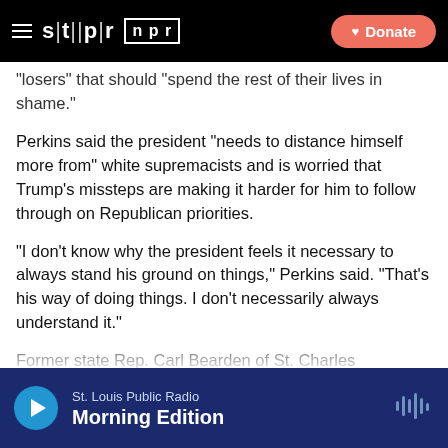STLPR | NPR — Donate
“losers” that should “spend the rest of their lives in shame.”
Perkins said the president “needs to distance himself more from” white supremacists and is worried that Trump’s missteps are making it harder for him to follow through on Republican priorities.
“I don’t know why the president feels it necessary to always stand his ground on things,” Perkins said. “That’s his way of doing things. I don’t necessarily always understand it.”
Former state Rep. Carl Bearden of St. Charles
St. Louis Public Radio — Morning Edition